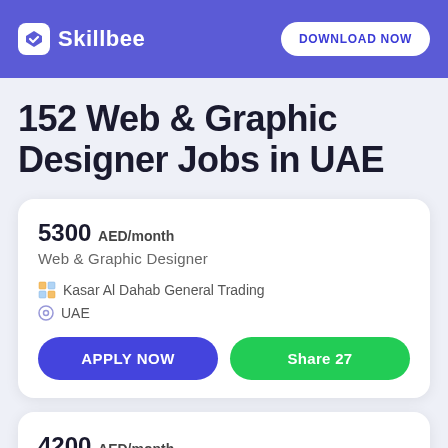[Figure (logo): Skillbee logo with white checkmark icon and white text on purple header background]
DOWNLOAD NOW
152 Web & Graphic Designer Jobs in UAE
5300 AED/month
Web & Graphic Designer
Kasar Al Dahab General Trading
UAE
APPLY NOW
Share  27
4200 AED/month